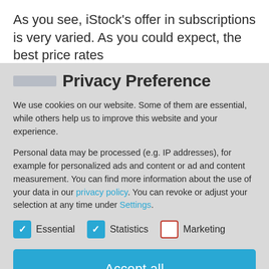As you see, iStock's offer in subscriptions is very varied. As you could expect, the best price rates
Privacy Preference
We use cookies on our website. Some of them are essential, while others help us to improve this website and your experience.
Personal data may be processed (e.g. IP addresses), for example for personalized ads and content or ad and content measurement. You can find more information about the use of your data in our privacy policy. You can revoke or adjust your selection at any time under Settings.
Essential (checked)
Statistics (checked)
Marketing (unchecked)
Accept all
Save